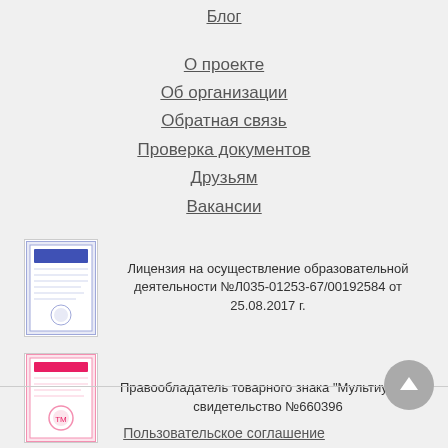Блог
О проекте
Об организации
Обратная связь
Проверка документов
Друзьям
Вакансии
[Figure (illustration): Certificate/license document thumbnail]
Лицензия на осуществление образовательной деятельности №Л035-01253-67/00192584 от 25.08.2017 г.
[Figure (illustration): Trademark certificate thumbnail]
Правообладатель товарного знака "Мультиурок", свидетельство №660396
Пользовательское соглашение